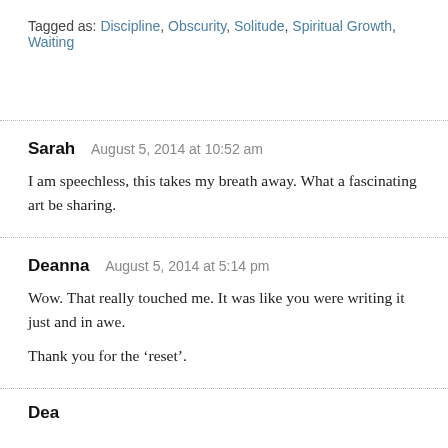Tagged as: Discipline, Obscurity, Solitude, Spiritual Growth, Waiting
Sarah   August 5, 2014 at 10:52 am
I am speechless, this takes my breath away. What a fascinating art be sharing.
Deanna   August 5, 2014 at 5:14 pm
Wow. That really touched me. It was like you were writing it just and in awe.

Thank you for the ‘reset’.